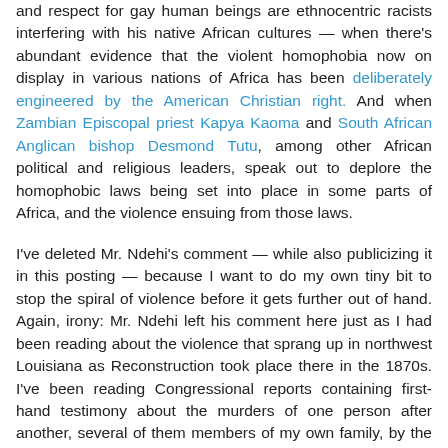and respect for gay human beings are ethnocentric racists interfering with his native African cultures — when there's abundant evidence that the violent homophobia now on display in various nations of Africa has been deliberately engineered by the American Christian right. And when Zambian Episcopal priest Kapya Kaoma and South African Anglican bishop Desmond Tutu, among other African political and religious leaders, speak out to deplore the homophobic laws being set into place in some parts of Africa, and the violence ensuing from those laws.
I've deleted Mr. Ndehi's comment — while also publicizing it in this posting — because I want to do my own tiny bit to stop the spiral of violence before it gets further out of hand. Again, irony: Mr. Ndehi left his comment here just as I had been reading about the violence that sprang up in northwest Louisiana as Reconstruction took place there in the 1870s. I've been reading Congressional reports containing first-hand testimony about the murders of one person after another, several of them members of my own family, by the terroristic White League because they were considered too soft on people of color recently freed from slavery, or, in one case, because they opened a school to teach former slaves how to